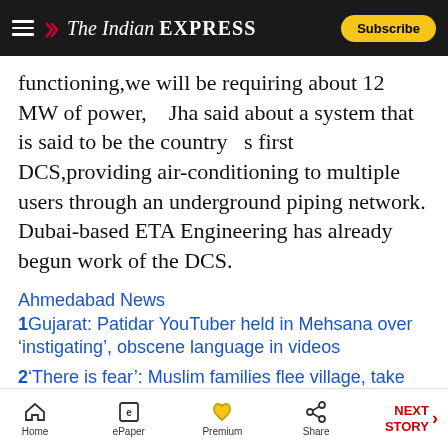The Indian Express — Subscribe
functioning,we will be requiring about 12 MW of power,   Jha said about a system that is said to be the country   s first DCS,providing air-conditioning to multiple users through an underground piping network. Dubai-based ETA Engineering has already begun work of the DCS.
Ahmedabad News
1 Gujarat: Patidar YouTuber held in Mehsana over 'instigating', obscene language in videos
2 'There is fear': Muslim families flee village, take shelter in relief colony
3 40 Pak Hindus get Indian citizenship certificates
More from Ahmedabad
Home  ePaper  Premium  Share  NEXT STORY